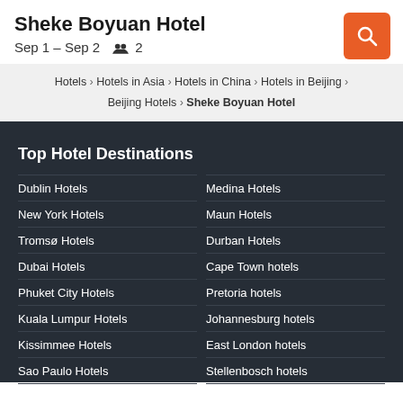Sheke Boyuan Hotel
Sep 1 – Sep 2  👥 2
Hotels > Hotels in Asia > Hotels in China > Hotels in Beijing > Beijing Hotels > Sheke Boyuan Hotel
Top Hotel Destinations
Dublin Hotels
Medina Hotels
New York Hotels
Maun Hotels
Tromsø Hotels
Durban Hotels
Dubai Hotels
Cape Town hotels
Phuket City Hotels
Pretoria hotels
Kuala Lumpur Hotels
Johannesburg hotels
Kissimmee Hotels
East London hotels
Sao Paulo Hotels
Stellenbosch hotels
Maputo Hotels
Sun City hotels